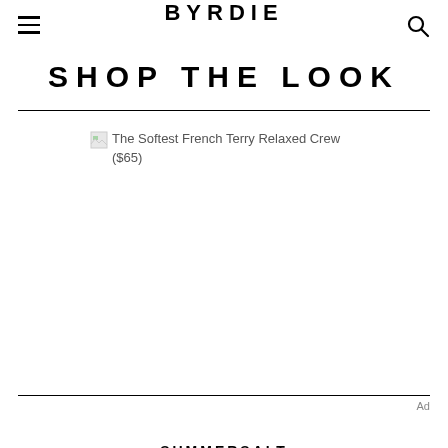BYRDIE
SHOP THE LOOK
[Figure (photo): Broken image placeholder for: The Softest French Terry Relaxed Crew ($65)]
SUMMERSALT
The Softest French Terry Relaxed Crew ($80)
BUY
Ad